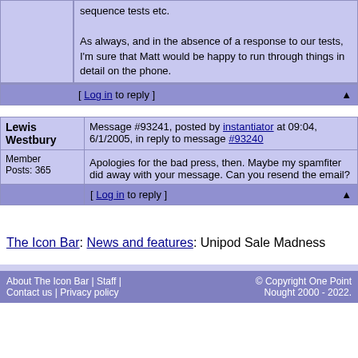sequence tests etc.

As always, and in the absence of a response to our tests, I'm sure that Matt would be happy to run through things in detail on the phone.
[ Log in to reply ]
Lewis Westbury
Message #93241, posted by instantiator at 09:04, 6/1/2005, in reply to message #93240
Member
Posts: 365
Apologies for the bad press, then. Maybe my spamfiter did away with your message. Can you resend the email?
[ Log in to reply ]
The Icon Bar: News and features: Unipod Sale Madness
About The Icon Bar | Staff | Contact us | Privacy policy   © Copyright One Point Nought 2000 - 2022.